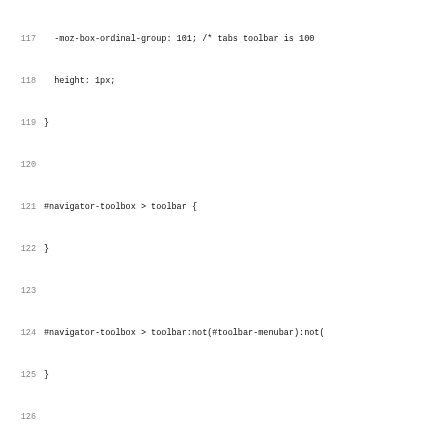Code listing lines 117-148 showing CSS code for navigator-toolbox toolbar styles and @media query